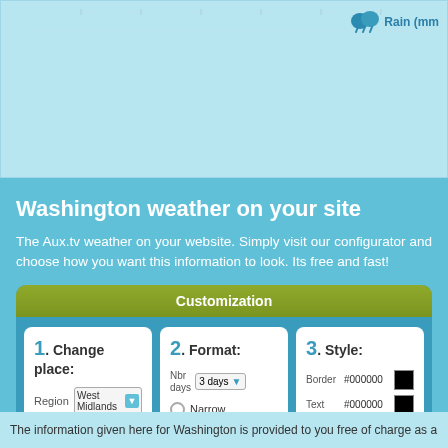[Figure (screenshot): Top portion of a weather chart with 'Rain (mm)' label and rain icon visible at top right, light blue background with grid lines]
Washington weather on your site
The Aux.tv weather on your website. Simply visit our configurator and choose how you want this information to look. Its free and fast!
[Figure (screenshot): Customization widget with three panels: 1. Change place (Region: West Midlands, Place: Coven), 2. Format (Nbr days: 3 days, Narrow/Medium/Wide radio buttons), 3. Style (Border #000000, Text #000000, Back. #DCEDE0, Min T #2F2EC4 color swatches)]
Back to Home page
The information given here for Washington is provided to you free of charge as a